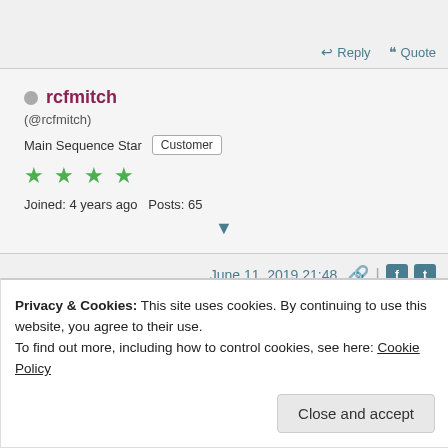Reply  Quote
rcfmitch
(@rcfmitch)
Main Sequence Star  Customer
★★★★
Joined: 4 years ago  Posts: 65
June 11, 2019 21:48
Privacy & Cookies: This site uses cookies. By continuing to use this website, you agree to their use.
To find out more, including how to control cookies, see here: Cookie Policy
Close and accept